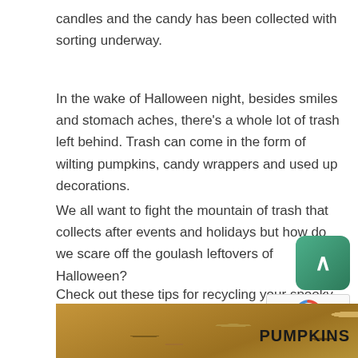candles and the candy has been collected with sorting underway.
In the wake of Halloween night, besides smiles and stomach aches, there’s a whole lot of trash left behind. Trash can come in the form of wilting pumpkins, candy wrappers and used up decorations.
We all want to fight the mountain of trash that collects after events and holidays but how do we scare off the goulash leftovers of Halloween?
Check out these tips for recycling your spooky adventures:
[Figure (photo): Close-up photo of pumpkins/seeds with PUMPKINS label text overlay]
PUMPKINS